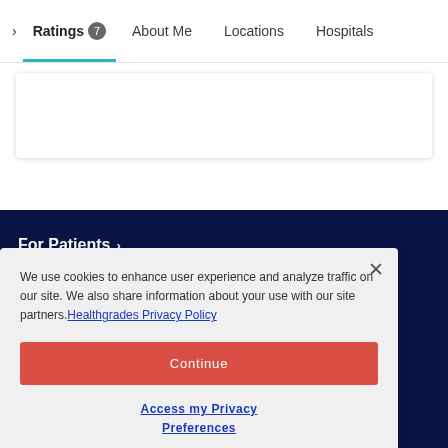Ratings 7 | About Me | Locations | Hospitals
For Patients
We use cookies to enhance user experience and analyze traffic on our site. We also share information about your use with our site partners. Healthgrades Privacy Policy
Continue
Access my Privacy Preferences